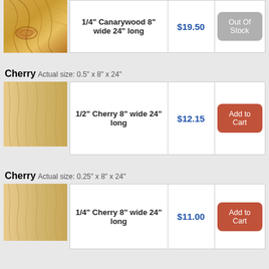| Product | Price | Action |
| --- | --- | --- |
| 1/4" Canarywood 8" wide 24" long | $19.50 | Out Of Stock |
Cherry Actual size: 0.5" x 8" x 24"
| Product | Price | Action |
| --- | --- | --- |
| 1/2" Cherry 8" wide 24" long | $12.15 | Add to Cart |
Cherry Actual size: 0.25" x 8" x 24"
| Product | Price | Action |
| --- | --- | --- |
| 1/4" Cherry 8" wide 24" long | $11.00 | Add to Cart |